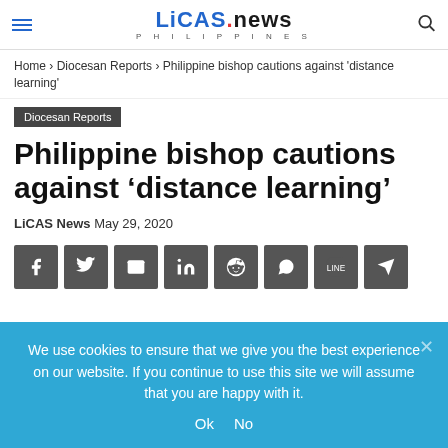LiCAS.news PHILIPPINES
Home › Diocesan Reports › Philippine bishop cautions against 'distance learning'
Diocesan Reports
Philippine bishop cautions against ‘distance learning’
LiCAS News May 29, 2020
[Figure (other): Social sharing buttons: Facebook, Twitter, Email, LinkedIn, Reddit, WhatsApp, Line, Telegram]
We use cookies to ensure that we give you the best experience on our website. If you continue to use this site we will assume that you are happy with it.